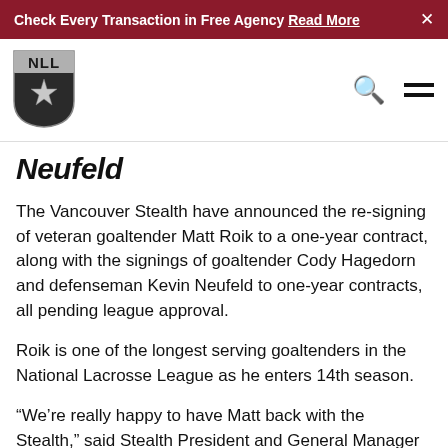Check Every Transaction in Free Agency Read More ×
[Figure (logo): NLL (National Lacrosse League) shield logo with star design, black and silver]
Neufeld
The Vancouver Stealth have announced the re-signing of veteran goaltender Matt Roik to a one-year contract, along with the signings of goaltender Cody Hagedorn and defenseman Kevin Neufeld to one-year contracts, all pending league approval.
Roik is one of the longest serving goaltenders in the National Lacrosse League as he enters 14th season.
“We’re really happy to have Matt back with the Stealth,” said Stealth President and General Manager Doug Locker. “He’s a solid veteran presence who knows both the league